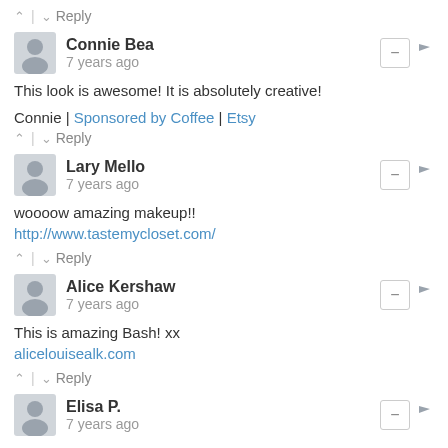↑ | ↓  Reply
Connie Bea
7 years ago
This look is awesome! It is absolutely creative!
Connie | Sponsored by Coffee | Etsy
↑ | ↓  Reply
Lary Mello
7 years ago
woooow amazing makeup!!
http://www.tastemycloset.com/
↑ | ↓  Reply
Alice Kershaw
7 years ago
This is amazing Bash! xx
alicelouisealk.com
↑ | ↓  Reply
Elisa P.
7 years ago